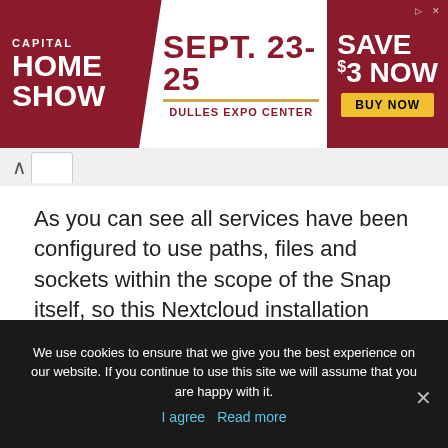[Figure (infographic): Capital Home Show advertisement banner. Red background with white text 'CAPITAL HOME SHOW', center white diagonal section with 'SEPT. 23-25' in large red text, 'DULLES EXPO CENTER' below, right section with 'SAVE $3 NOW' and yellow 'BUY NOW' button.]
As you can see all services have been configured to use paths, files and sockets within the scope of the Snap itself, so this Nextcloud installation doesn't need to touch any “outside” data and stays confined. This is nice, since the whole package has been made to work “as is” without requiring the user to e.g. manually connect Nextcloud to a database server. On the other hand it’s a waste of resources in case you already have a mySQL server
We use cookies to ensure that we give you the best experience on our website. If you continue to use this site we will assume that you are happy with it.
I agree  Read more